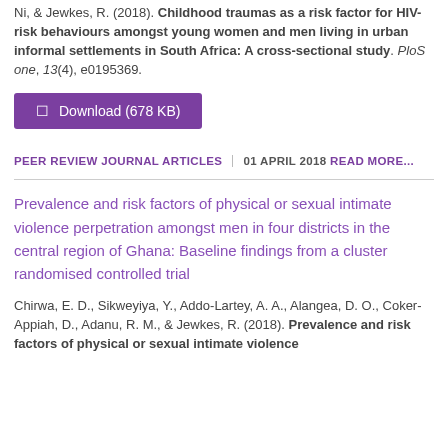Ni, & Jewkes, R. (2018). Childhood traumas as a risk factor for HIV-risk behaviours amongst young women and men living in urban informal settlements in South Africa: A cross-sectional study. PloS one, 13(4), e0195369.
Download (678 KB)
PEER REVIEW JOURNAL ARTICLES | 01 APRIL 2018 READ MORE...
Prevalence and risk factors of physical or sexual intimate violence perpetration amongst men in four districts in the central region of Ghana: Baseline findings from a cluster randomised controlled trial
Chirwa, E. D., Sikweyiya, Y., Addo-Lartey, A. A., Alangea, D. O., Coker-Appiah, D., Adanu, R. M., & Jewkes, R. (2018). Prevalence and risk factors of physical or sexual intimate violence